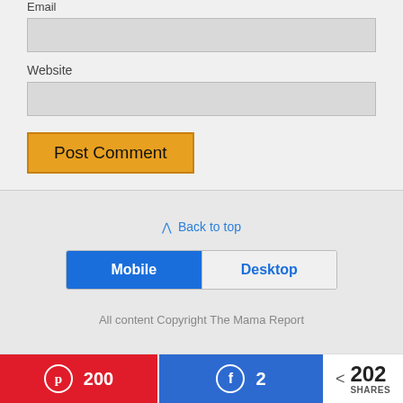Email
[Figure (screenshot): Email input text field (empty, grey background)]
Website
[Figure (screenshot): Website input text field (empty, grey background)]
[Figure (screenshot): Post Comment button (orange/amber)]
Back to top
[Figure (screenshot): Mobile/Desktop toggle bar with Mobile selected (blue) and Desktop unselected]
All content Copyright The Mama Report
[Figure (screenshot): Share bar with Pinterest 200, Facebook 2, and 202 SHARES total]